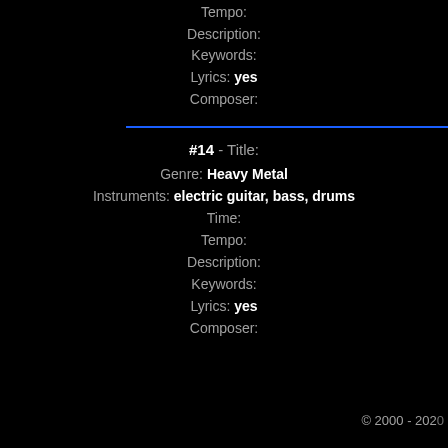Tempo:
Description:
Keywords:
Lyrics: yes
Composer:
#14 - Title:
Genre: Heavy Metal
Instruments: electric guitar, bass, drums
Time:
Tempo:
Description:
Keywords:
Lyrics: yes
Composer:
© 2000 - 2020